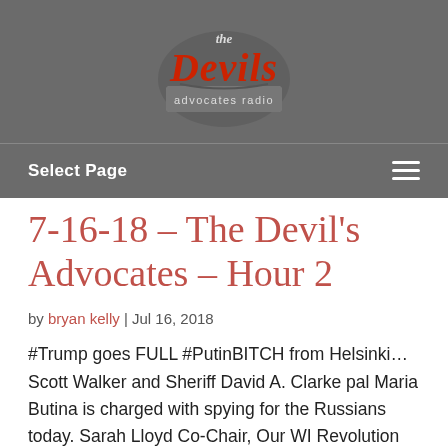[Figure (logo): The Devil's Advocates Radio logo: stylized red gothic lettering with 'the Devils advocates radio' text on a grey banner]
Select Page
7-16-18 – The Devil's Advocates – Hour 2
by bryan kelly | Jul 16, 2018
#Trump goes FULL #PutinBITCH from Helsinki… Scott Walker and Sheriff David A. Clarke pal Maria Butina is charged with spying for the Russians today. Sarah Lloyd Co-Chair, Our WI Revolution talks Wisconsin she ass amating on or now! Your